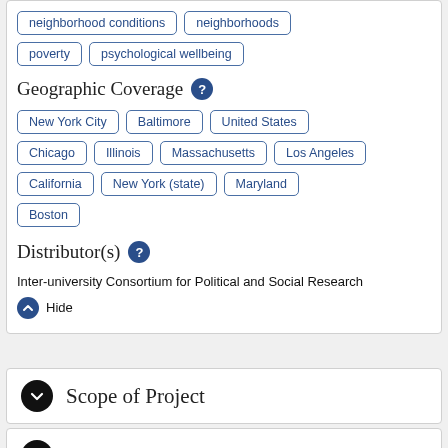neighborhood conditions
neighborhoods
poverty
psychological wellbeing
Geographic Coverage
New York City
Baltimore
United States
Chicago
Illinois
Massachusetts
Los Angeles
California
New York (state)
Maryland
Boston
Distributor(s)
Inter-university Consortium for Political and Social Research
Hide
Scope of Project
Methodology